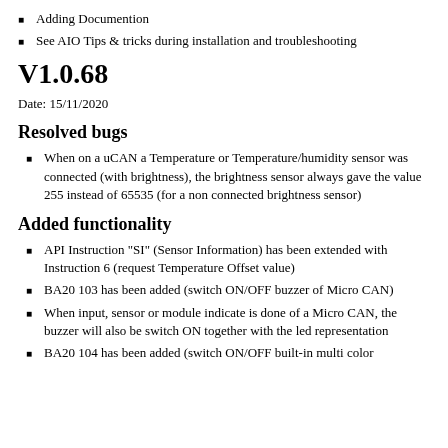Adding Documention
See AIO Tips & tricks during installation and troubleshooting
V1.0.68
Date: 15/11/2020
Resolved bugs
When on a uCAN a Temperature or Temperature/humidity sensor was connected (with brightness), the brightness sensor always gave the value 255 instead of 65535 (for a non connected brightness sensor)
Added functionality
API Instruction "SI" (Sensor Information) has been extended with Instruction 6 (request Temperature Offset value)
BA20 103 has been added (switch ON/OFF buzzer of Micro CAN)
When input, sensor or module indicate is done of a Micro CAN, the buzzer will also be switch ON together with the led representation
BA20 104 has been added (switch ON/OFF built-in multi color